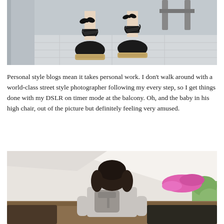[Figure (photo): Close-up photo of a person's feet wearing black espadrille wedge sandals with lace-up ties, standing on a light gray tiled balcony floor. A chair leg is visible in the upper right corner.]
Personal style blogs mean it takes personal work. I don't walk around with a world-class street style photographer following my every step, so I get things done with my DSLR on timer mode at the balcony. Oh, and the baby in his high chair, out of the picture but definitely feeling very amused.
[Figure (photo): Photo of a woman seen from behind, sitting on a balcony. She has dark shoulder-length hair and is wearing a gray top with a backpack. Pink flowers and outdoor furniture are visible in the background.]